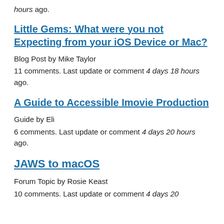hours ago.
Little Gems: What were you not Expecting from your iOS Device or Mac?
Blog Post by Mike Taylor
11 comments. Last update or comment 4 days 18 hours ago.
A Guide to Accessible Imovie Production
Guide by Eli
6 comments. Last update or comment 4 days 20 hours ago.
JAWS to macOS
Forum Topic by Rosie Keast
10 comments. Last update or comment 4 days 20